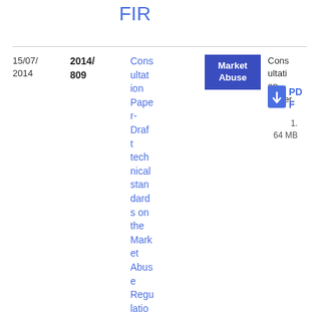FIR
| Date | Doc Number | Title | Tag | Type | Download |
| --- | --- | --- | --- | --- | --- |
| 15/07/2014 | 2014/809 | Consultation Paper- Draft technical standards on the Market Abuse Regulation | Market Abuse | Consultation Paper | PDF 1.64 MB |